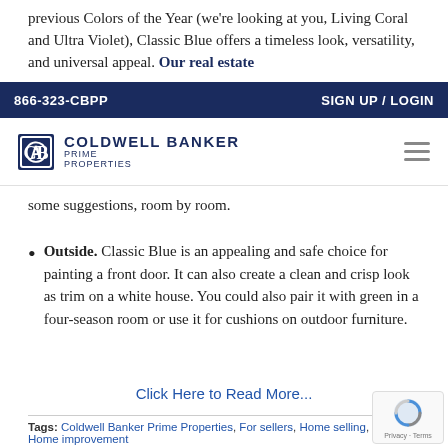previous Colors of the Year (we're looking at you, Living Coral and Ultra Violet), Classic Blue offers a timeless look, versatility, and universal appeal. Our real estate
866-323-CBPP    SIGN UP / LOGIN
[Figure (logo): Coldwell Banker Prime Properties logo with CB icon and hamburger menu]
some suggestions, room by room.
Outside. Classic Blue is an appealing and safe choice for painting a front door. It can also create a clean and crisp look as trim on a white house. You could also pair it with green in a four-season room or use it for cushions on outdoor furniture.
Click Here to Read More...
Tags: Coldwell Banker Prime Properties, For sellers, Home selling, Home improvement